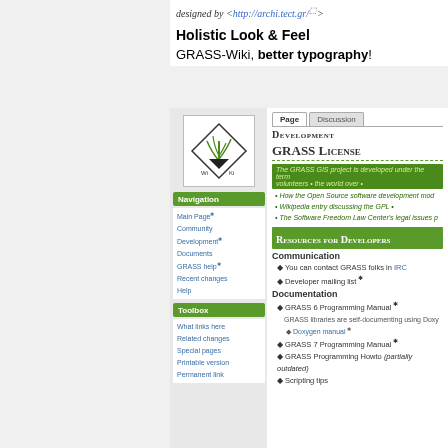designed by <http://archi.tect.gr/>
Holistic Look & Feel
GRASS-Wiki, better typography!
[Figure (screenshot): Screenshot of GRASS Wiki development page showing navigation sidebar with links (Main Page, Community Development, Documents, GRASS help, Recent changes, Help), toolbox sidebar (What links here, Related changes, Special pages, Printable version, Permanent link), and main content area showing GRASS License section and Resources for Developers section with Communication and Documentation subsections.]